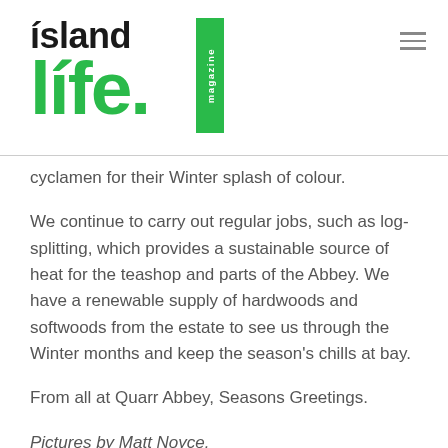[Figure (logo): Island Life Magazine logo with green 'life.' wordmark and vertical green 'magazine' bar]
cyclamen for their Winter splash of colour.
We continue to carry out regular jobs, such as log-splitting, which provides a sustainable source of heat for the teashop and parts of the Abbey. We have a renewable supply of hardwoods and softwoods from the estate to see us through the Winter months and keep the season's chills at bay.
From all at Quarr Abbey, Seasons Greetings.
Pictures by Matt Noyce.